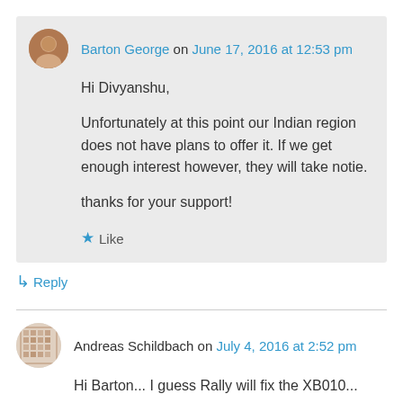Barton George on June 17, 2016 at 12:53 pm
Hi Divyanshu,

Unfortunately at this point our Indian region does not have plans to offer it. If we get enough interest however, they will take notie.

thanks for your support!
★ Like
↳ Reply
Andreas Schildbach on July 4, 2016 at 2:52 pm
Hi Barton... I guess Rally will fix the XB010...